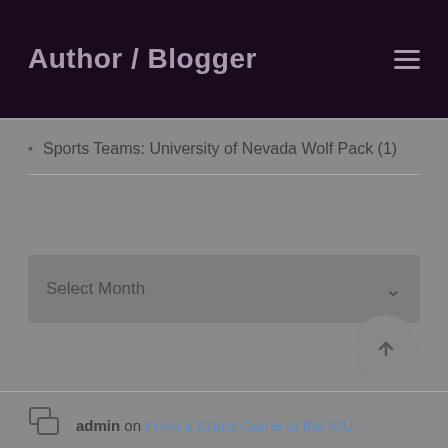Author / Blogger
Sports Teams: University of Nevada Wolf Pack (1)
[Figure (other): Select Month dropdown widget]
admin on From a Craps Game to the ICU
Kathy on From a Craps Game to the ICU